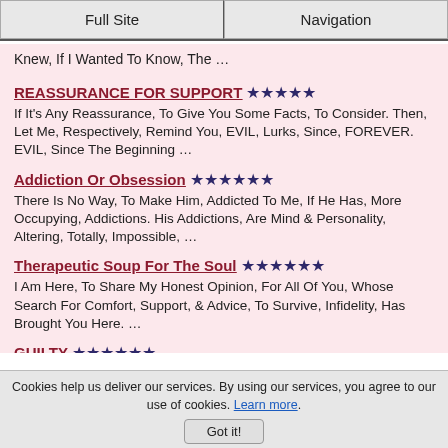Full Site | Navigation
Knew, If I Wanted To Know, The …
REASSURANCE FOR SUPPORT ★★★★★ — If It's Any Reassurance, To Give You Some Facts, To Consider. Then, Let Me, Respectively, Remind You, EVIL, Lurks, Since, FOREVER. EVIL, Since The Beginning …
Addiction Or Obsession ★★★★★★ — There Is No Way, To Make Him, Addicted To Me, If He Has, More Occupying, Addictions. His Addictions, Are Mind & Personality, Altering, Totally, Impossible, …
Therapeutic Soup For The Soul ★★★★★★ — I Am Here, To Share My Honest Opinion, For All Of You, Whose Search For Comfort, Support, & Advice, To Survive, Infidelity, Has Brought You Here. …
GUILTY ★★★★★★ — I, Too, Am Guilty... Guilty, Of Loving, You, A Man, I Did Not TRUST. I Guess I Am A Bad, Woman, Because, You Had A Habit, For LUST.. I Am Definately …
Apologetic ★★★★★ — I'm Sorry, I Could Not Make You Happy, I'm Sorry, I Was Not …
Cookies help us deliver our services. By using our services, you agree to our use of cookies. Learn more. Got it!